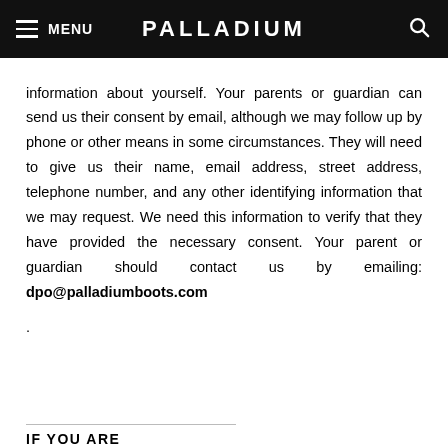MENU  PALLADIUM
information about yourself. Your parents or guardian can send us their consent by email, although we may follow up by phone or other means in some circumstances. They will need to give us their name, email address, street address, telephone number, and any other identifying information that we may request. We need this information to verify that they have provided the necessary consent. Your parent or guardian should contact us by emailing: dpo@palladiumboots.com
.
IF YOU ARE